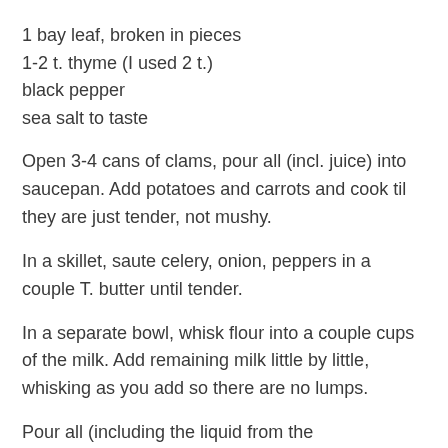1 bay leaf, broken in pieces
1-2 t. thyme (I used 2 t.)
black pepper
sea salt to taste
Open 3-4 cans of clams, pour all (incl. juice) into saucepan. Add potatoes and carrots and cook til they are just tender, not mushy.
In a skillet, saute celery, onion, peppers in a couple T. butter until tender.
In a separate bowl, whisk flour into a couple cups of the milk. Add remaining milk little by little, whisking as you add so there are no lumps.
Pour all (including the liquid from the potato/carrots/clams) into my large Martha Stewart stainless steel pot which doesn't let anything stick on the bottom. Heat on Low, stirring. Add seasonings.
Bring to near boil, but DON'T BOIL. At this point, you can